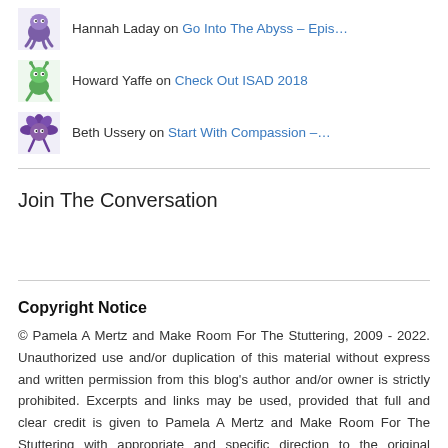Hannah Laday on Go Into The Abyss – Epis…
Howard Yaffe on Check Out ISAD 2018
Beth Ussery on Start With Compassion –…
Join The Conversation
Copyright Notice
© Pamela A Mertz and Make Room For The Stuttering, 2009 - 2022. Unauthorized use and/or duplication of this material without express and written permission from this blog's author and/or owner is strictly prohibited. Excerpts and links may be used, provided that full and clear credit is given to Pamela A Mertz and Make Room For The Stuttering with appropriate and specific direction to the original content. Same